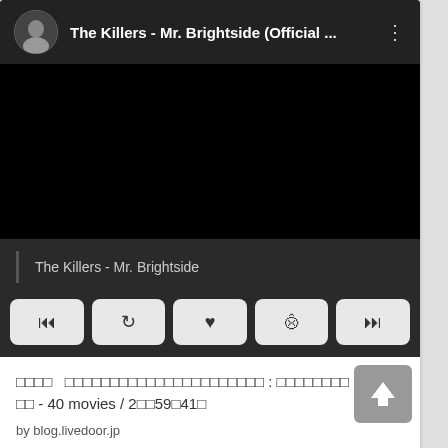[Figure (screenshot): Music player UI showing 'The Killers - Mr. Brightside (Official ...' with avatar, dark video area, track name, and playback controls]
□□□□ □□□□□□□□□□□□□□□□□□□□□□ : □□□□□□□□ □□ - 40 movies / 2□□59□41□
by blog.livedoor.jp
B! 0
ツイート